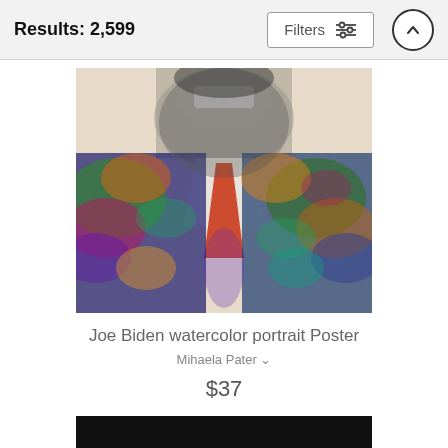Results: 2,599
[Figure (illustration): Filters button with sliders icon]
[Figure (photo): Joe Biden watercolor portrait — colorful artistic rendering of a smiling man in a suit with a multicolored watercolor effect over his jacket and tie]
Joe Biden watercolor portrait Poster
Mihaela Pater
$37
[Figure (photo): Bottom portion of another product image, mostly black]